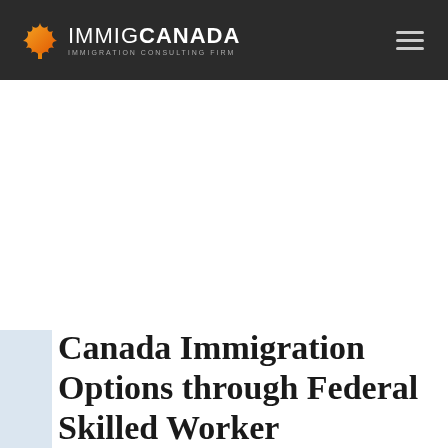IMMIGCANADA IMMIGRATION CONSULTING FIRM
Canada Immigration Options through Federal Skilled Worker Program — Program...